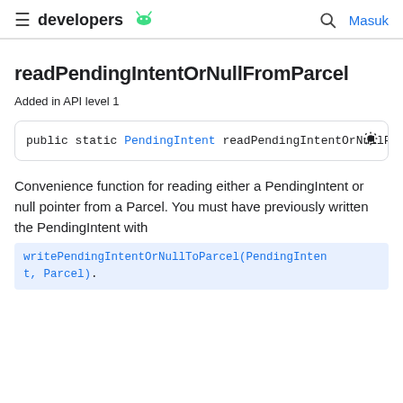developers [android logo] | search | Masuk
readPendingIntentOrNullFromParcel
Added in API level 1
public static PendingIntent readPendingIntentOrNullF
Convenience function for reading either a PendingIntent or null pointer from a Parcel. You must have previously written the PendingIntent with writePendingIntentOrNullToParcel(PendingIntent, Parcel).